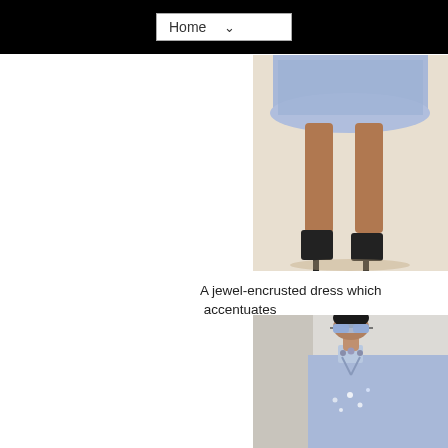Home
[Figure (photo): Lower body of a model on a runway wearing a light blue lace/textured skirt and black heeled sandals on a white runway surface]
A jewel-encrusted dress which  accentuates
[Figure (photo): Model wearing a light blue jewel-encrusted halter dress with sunglasses, dark hair pulled up, photographed from the waist up on a runway]